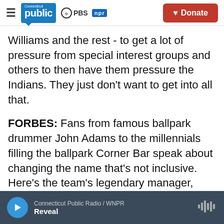Connecticut Public / PBS / NPR — Donate
Williams and the rest - to get a lot of pressure from special interest groups and others to then have them pressure the Indians. They just don't want to get into all that.
FORBES: Fans from famous ballpark drummer John Adams to the millennials filling the ballpark Corner Bar speak about changing the name that's not inclusive. Here's the team's legendary manager, Terry Francona.
Connecticut Public Radio / WNPR — Reveal